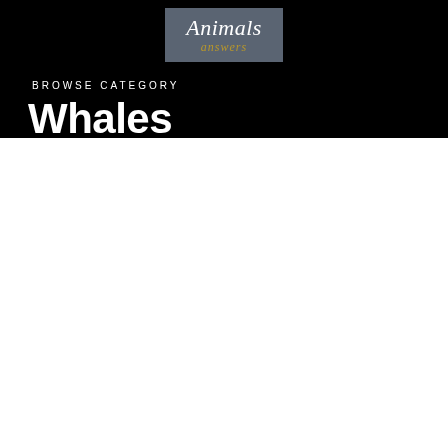[Figure (logo): Animals Answers logo — grey rectangle with 'Animals' in white italic serif and 'answers' in gold italic serif below]
BROWSE CATEGORY
Whales